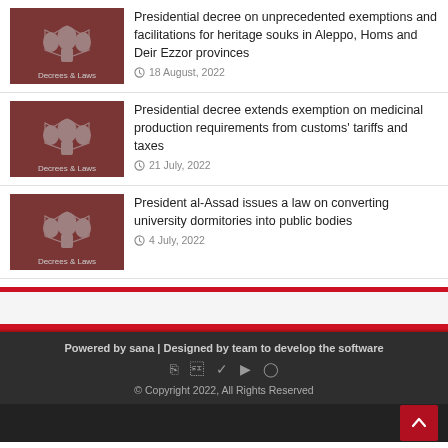Presidential decree on unprecedented exemptions and facilitations for heritage souks in Aleppo, Homs and Deir Ezzor provinces — 18 August, 2022
Presidential decree extends exemption on medicinal production requirements from customs' tariffs and taxes — 21 July, 2022
President al-Assad issues a law on converting university dormitories into public bodies — 4 July, 2022
Powered by sana | Designed by team to develop the software © Copyright 2022, All Rights Reserved